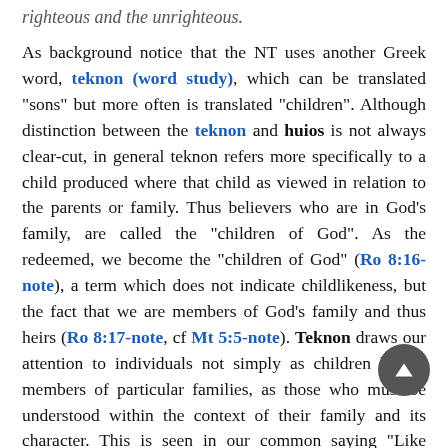righteous and the unrighteous.
As background notice that the NT uses another Greek word, teknon (word study), which can be translated "sons" but more often is translated "children". Although distinction between the teknon and huios is not always clear-cut, in general teknon refers more specifically to a child produced where that child as viewed in relation to the parents or family. Thus believers who are in God's family, are called the "children of God". As the redeemed, we become the "children of God" (Ro 8:16-note), a term which does not indicate childlikeness, but the fact that we are members of God's family and thus heirs (Ro 8:17-note, cf Mt 5:5-note). Teknon draws our attention to individuals not simply as children but as members of particular families, as those who must be understood within the context of their family and its character. This is seen in our common saying "Like father, like son". Note also that there are only two basic families to which one can be a teknon, either God's family or Satan's family!
Now back to our discussion of huios - the point is that teknon